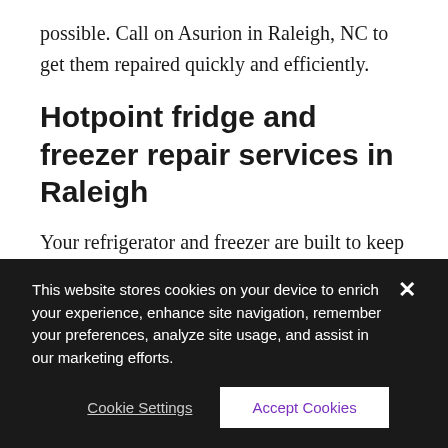possible. Call on Asurion in Raleigh, NC to get them repaired quickly and efficiently.
Hotpoint fridge and freezer repair services in Raleigh
Your refrigerator and freezer are built to keep all of your food nice and fresh in between family meals. When they are no longer performing correctly, you want them to be fixed by an approved Hotpoint repair company in Raleigh, NC. If your freezer stops freezing your groceries, and your Hotpoint fridge stops keeping your food fresh, count on
This website stores cookies on your device to enrich your experience, enhance site navigation, remember your preferences, analyze site usage, and assist in our marketing efforts.
Cookie Settings
Accept Cookies